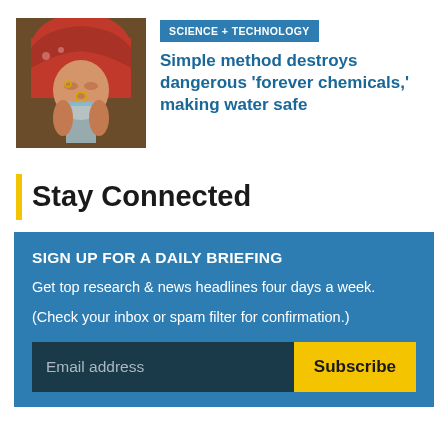[Figure (photo): A person wearing a red headscarf and traditional jewelry drinking from a glass]
SCIENCE + TECHNOLOGY
Simple method destroys dangerous ‘forever chemicals,’ making water safe
Stay Connected
SIGN UP FOR A DAILY BRIEFING
Get top research & news headlines four days a week.
(Check your inbox or spam filter for confirmation.)
Email address
Subscribe